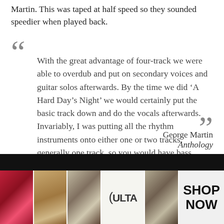Martin. This was taped at half speed so they sounded speedier when played back.
With the great advantage of four-track we were able to overdub and put on secondary voices and guitar solos afterwards. By the time we did ‘A Hard Day’s Night’ we would certainly put the basic track down and do the vocals afterwards. Invariably, I was putting all the rhythm instruments onto either one or two tracks, generally one track, so you would have bass lumped with guitar. — George Martin, Anthology
[Figure (advertisement): ULTA Beauty advertisement banner at bottom of page showing makeup product images (lips, brush, eye, ULTA logo, eye) with SHOP NOW call to action]